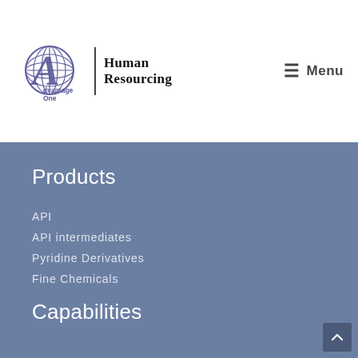[Figure (logo): Advantage One Human Resourcing logo with globe icon and company name]
≡ Menu
Products
API
API intermediates
Pyridine Derivatives
Fine Chemicals
Capabilities